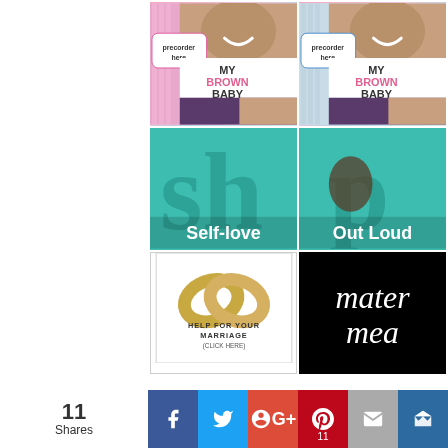[Figure (illustration): Two book covers for 'My Brown Baby' with pink and teal backgrounds showing a child's smiling face and 'precorder here' badge]
[Figure (illustration): Shop Self-love banner with teal background and large 'sh' text]
[Figure (illustration): Shop Out Loud banner with teal background and 'p' text with silhouette]
[Figure (illustration): Help For Your Marriage advertisement with gold wedding rings image and text 'HELP FOR YOUR MARRIAGE (CLICK HERE)']
[Figure (illustration): Mater Mea logo in white script text on black background]
11 Shares
[Figure (infographic): Social sharing bar with Facebook, Twitter, Google+, Pinterest (11), Email, and Kippt buttons]